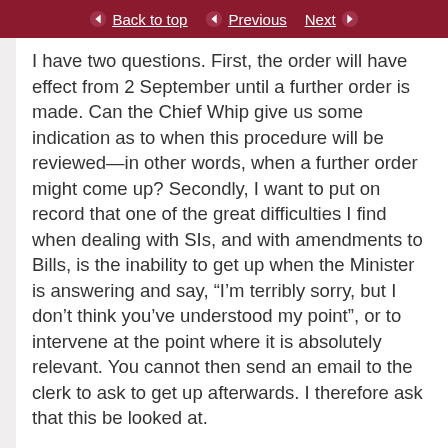Back to top | Previous | Next
I have two questions. First, the order will have effect from 2 September until a further order is made. Can the Chief Whip give us some indication as to when this procedure will be reviewed—in other words, when a further order might come up? Secondly, I want to put on record that one of the great difficulties I find when dealing with SIs, and with amendments to Bills, is the inability to get up when the Minister is answering and say, “I’m terribly sorry, but I don’t think you’ve understood my point”, or to intervene at the point where it is absolutely relevant. You cannot then send an email to the clerk to ask to get up afterwards. I therefore ask that this be looked at.
I will not speak again, but on the next Motion the